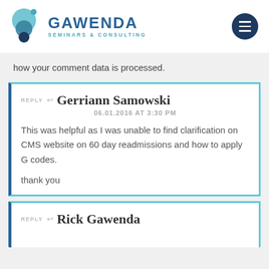[Figure (logo): Gawenda Seminars & Consulting logo with teal/blue circular icon and text]
how your comment data is processed.
REPLY ↩ Gerriann Samowski
06.01.2016 AT 3:30 PM

This was helpful as I was unable to find clarification on CMS website on 60 day readmissions and how to apply G codes.

thank you
REPLY ↩ Rick Gawenda